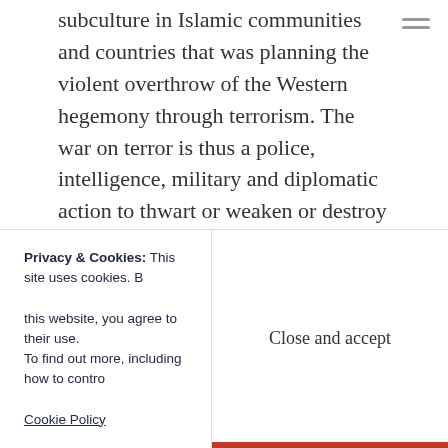subculture in Islamic communities and countries that was planning the violent overthrow of the Western hegemony through terrorism. The war on terror is thus a police, intelligence, military and diplomatic action to thwart or weaken or destroy this enemy faction.
Regardless of whether you’re for or against it, you can’t really claim to be perplexed over what the war on terror means.  Even if you think it’s a cover story for more nefarious motives, the “war on
Privacy & Cookies: This site uses cookies. By continuing to use this website, you agree to their use. To find out more, including how to control cookies, see here: Cookie Policy
Close and accept
is said over and over that neither the civilian